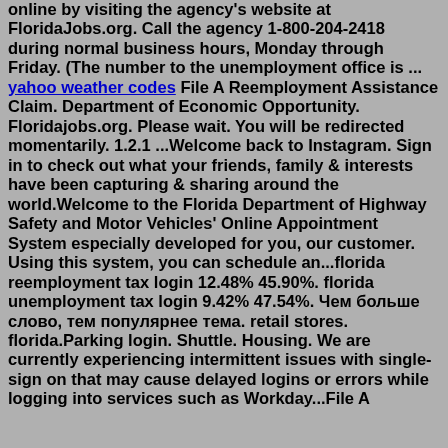online by visiting the agency's website at FloridaJobs.org. Call the agency 1-800-204-2418 during normal business hours, Monday through Friday. (The number to the unemployment office is ... yahoo weather codes File A Reemployment Assistance Claim. Department of Economic Opportunity. Floridajobs.org. Please wait. You will be redirected momentarily. 1.2.1 ...Welcome back to Instagram. Sign in to check out what your friends, family & interests have been capturing & sharing around the world.Welcome to the Florida Department of Highway Safety and Motor Vehicles' Online Appointment System especially developed for you, our customer. Using this system, you can schedule an...florida reemployment tax login 12.48% 45.90%. florida unemployment tax login 9.42% 47.54%. Чем больше слово, тем популярнее тема. retail stores. florida.Parking login. Shuttle. Housing. We are currently experiencing intermittent issues with single-sign on that may cause delayed logins or errors while logging into services such as Workday...File A